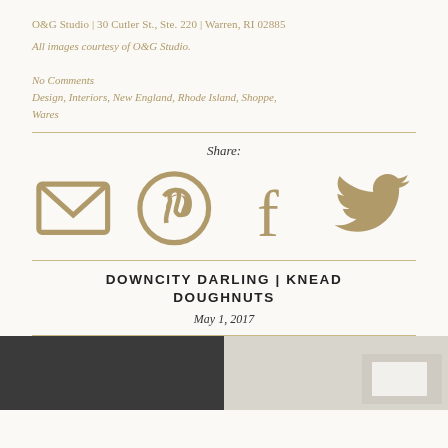O&G Studio | 30 Cutler St., Ste. 220 | Warren, RI 02885
All images courtesy of O&G Studio.
No Comments
Design, Interiors, New England, Rhode Island, Shoppe, Wares
Share:
[Figure (infographic): Social sharing icons: email, Pinterest, Facebook, Twitter in gold/tan color]
DOWNCITY DARLING | KNEAD DOUGHNUTS
May 1, 2017
[Figure (photo): Two side-by-side photos at bottom: left is dark gray/charcoal, right is light marble/gray texture with paper]